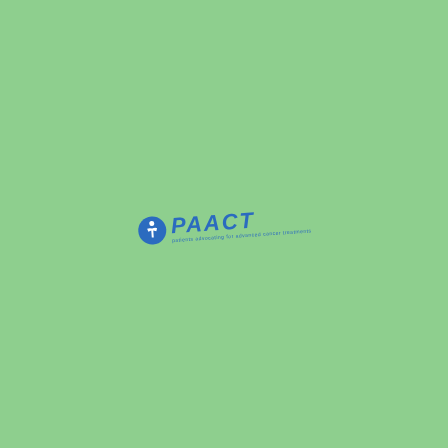[Figure (logo): PAACT organization logo: a blue circular globe with a white human figure silhouette, followed by the text 'PAACT' in bold italic blue letters, with a small tagline beneath, all slightly rotated on a green background.]